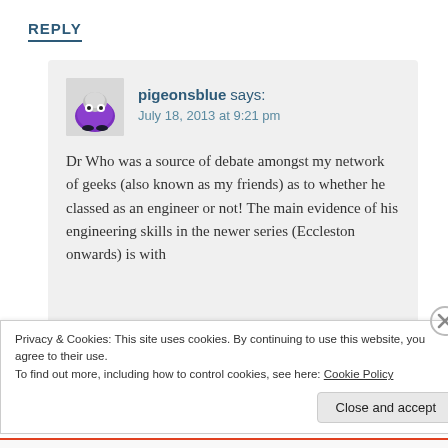REPLY
[Figure (screenshot): Avatar image of pigeonsblue — a small purple fuzzy creature/toy with googly eyes on a light surface]
pigeonsblue says:
July 18, 2013 at 9:21 pm
Dr Who was a source of debate amongst my network of geeks (also known as my friends) as to whether he classed as an engineer or not! The main evidence of his engineering skills in the newer series (Eccleston onwards) is with
Privacy & Cookies: This site uses cookies. By continuing to use this website, you agree to their use.
To find out more, including how to control cookies, see here: Cookie Policy
Close and accept